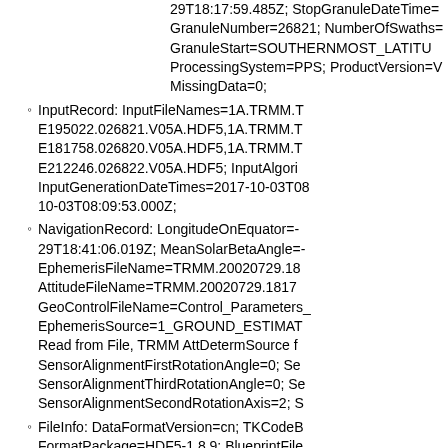29T18:17:59.485Z; StopGranuleDateTime= GranuleNumber=26821; NumberOfSwaths= GranuleStart=SOUTHERNMOST_LATITU ProcessingSystem=PPS; ProductVersion=V MissingData=0;
InputRecord: InputFileNames=1A.TRMM.T E195022.026821.V05A.HDF5,1A.TRMM.T E181758.026820.V05A.HDF5,1A.TRMM.T E212246.026822.V05A.HDF5; InputAlgori InputGenerationDateTimes=2017-10-03T08 10-03T08:09:53.000Z;
NavigationRecord: LongitudeOnEquator=- 29T18:41:06.019Z; MeanSolarBetaAngle=- EphemerisFileName=TRMM.20020729.18 AttitudeFileName=TRMM.20020729.1817 GeoControlFileName=Control_Parameters_ EphemerisSource=1_GROUND_ESTIMAT Read from File, TRMM AttDetermSource f SensorAlignmentFirstRotationAngle=0; Se SensorAlignmentThirdRotationAngle=0; Se SensorAlignmentSecondRotationAxis=2; S
FileInfo: DataFormatVersion=cn; TKCodeB FormatPackage=HDF5-1.8.9; BlueprintFile BlueprintVersion=BV_58; TKIOVersion=3. EndianType=LITTLE_ENDIAN;